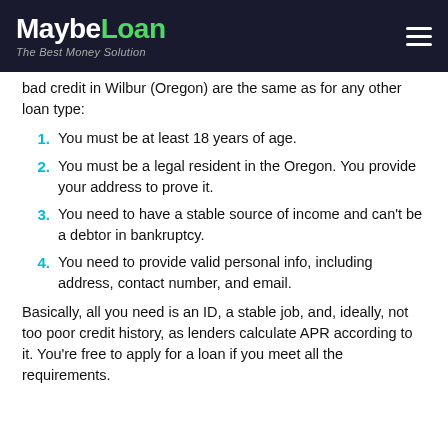MaybeLoan — The Best Money Solution
bad credit in Wilbur (Oregon) are the same as for any other loan type:
1. You must be at least 18 years of age.
2. You must be a legal resident in the Oregon. You provide your address to prove it.
3. You need to have a stable source of income and can't be a debtor in bankruptcy.
4. You need to provide valid personal info, including address, contact number, and email.
Basically, all you need is an ID, a stable job, and, ideally, not too poor credit history, as lenders calculate APR according to it. You're free to apply for a loan if you meet all the requirements.